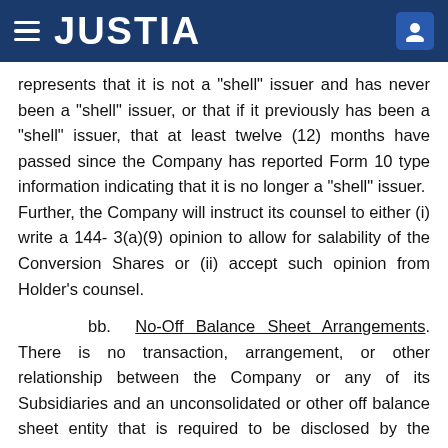JUSTIA
represents that it is not a "shell" issuer and has never been a "shell" issuer, or that if it previously has been a "shell" issuer, that at least twelve (12) months have passed since the Company has reported Form 10 type information indicating that it is no longer a "shell" issuer.  Further, the Company will instruct its counsel to either (i) write a 144- 3(a)(9) opinion to allow for salability of the Conversion Shares or (ii) accept such opinion from Holder's counsel.
bb. No-Off Balance Sheet Arrangements. There is no transaction, arrangement, or other relationship between the Company or any of its Subsidiaries and an unconsolidated or other off balance sheet entity that is required to be disclosed by the Company in its 1934 Act filings and is not so disclosed or that otherwise could be reasonably likely to have a